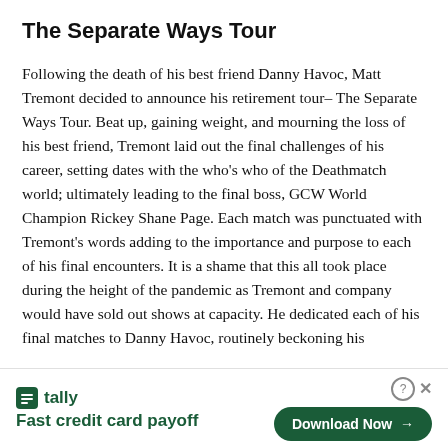The Separate Ways Tour
Following the death of his best friend Danny Havoc, Matt Tremont decided to announce his retirement tour– The Separate Ways Tour. Beat up, gaining weight, and mourning the loss of his best friend, Tremont laid out the final challenges of his career, setting dates with the who's who of the Deathmatch world; ultimately leading to the final boss, GCW World Champion Rickey Shane Page. Each match was punctuated with Tremont's words adding to the importance and purpose to each of his final encounters. It is a shame that this all took place during the height of the pandemic as Tremont and company would have sold out shows at capacity. He dedicated each of his final matches to Danny Havoc, routinely beckoning his
[Figure (infographic): Tally app advertisement banner. Logo with green square icon and 'tally' text. Tagline: 'Fast credit card payoff'. Green 'Download Now' button with arrow. Close (X) and help (?) icons in top right.]